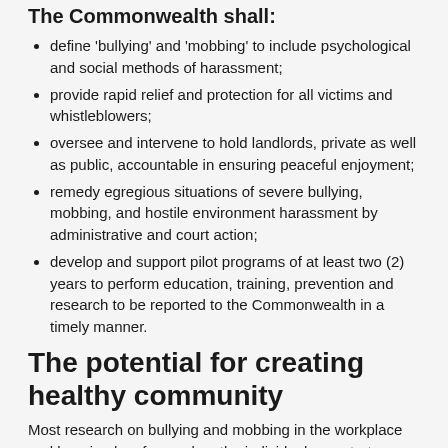The Commonwealth shall:
define 'bullying' and 'mobbing' to include psychological and social methods of harassment;
provide rapid relief and protection for all victims and whistleblowers;
oversee and intervene to hold landlords, private as well as public, accountable in ensuring peaceful enjoyment;
remedy egregious situations of severe bullying, mobbing, and hostile environment harassment by administrative and court action;
develop and support pilot programs of at least two (2) years to perform education, training, prevention and research to be reported to the Commonwealth in a timely manner.
The potential for creating healthy community
Most research on bullying and mobbing in the workplace and housing has focused on the individual perpetrators or